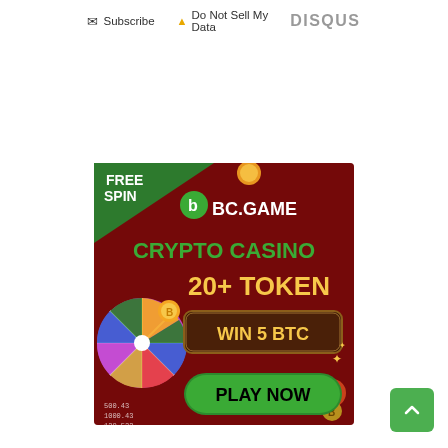Subscribe | Do Not Sell My Data | DISQUS
[Figure (illustration): BC.GAME crypto casino advertisement banner. Dark red background with a spinning wheel graphic on the left. Text reads: FREE SPIN, BC.GAME logo, CRYPTO CASINO, 20+ TOKEN, WIN 5 BTC, PLAY NOW button in green. Gold coins and cartoon character visible.]